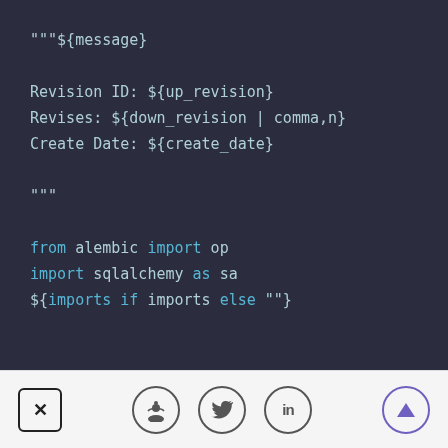"""${message}

Revision ID: ${up_revision}
Revises: ${down_revision | comma,n}
Create Date: ${create_date}

"""

from alembic import op
import sqlalchemy as sa
${imports if imports else ""}
[Figure (screenshot): Toolbar with close (x) button, Reddit icon, Twitter bird icon, LinkedIn icon, and up-arrow circle button]